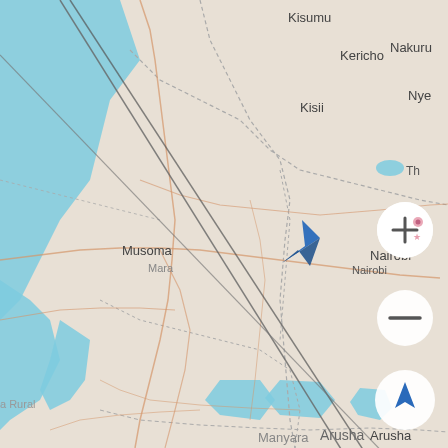[Figure (map): Mobile map screenshot showing East Africa region including Kenya and Tanzania. Visible city labels: Kisumu, Kericho, Nakuru, Nyeri (partial), Kisii, Nairobi, Musoma, Mara, Arusha, Manyara, and 'a Rural' (partial, bottom left). Lake Victoria visible on left side in blue. Blue navigation arrow/cursor icon in center pointing northeast. Diagonal gray line crossing the map from upper-left to lower-right. Map UI controls on right side: plus/zoom-in button, minus/zoom-out button, and a blue location arrow button labeled 'Arusha'. Road network shown in light orange lines on beige/tan background.]